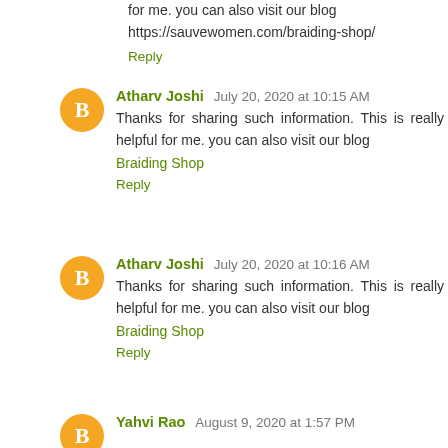for me. you can also visit our blog https://sauvewomen.com/braiding-shop/
Reply
Atharv Joshi  July 20, 2020 at 10:15 AM
Thanks for sharing such information. This is really helpful for me. you can also visit our blog
Braiding Shop
Reply
Atharv Joshi  July 20, 2020 at 10:16 AM
Thanks for sharing such information. This is really helpful for me. you can also visit our blog
Braiding Shop
Reply
Yahvi Rao  August 9, 2020 at 1:57 PM